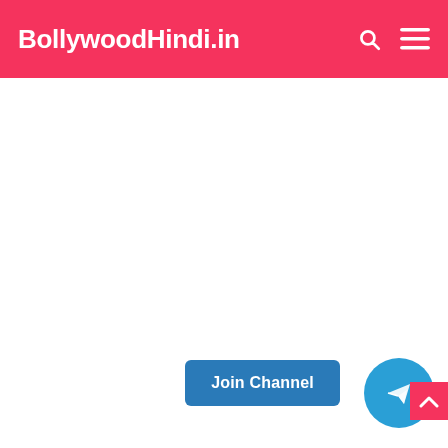BollywoodHindi.in
[Figure (screenshot): White blank content area below the header]
Join Channel